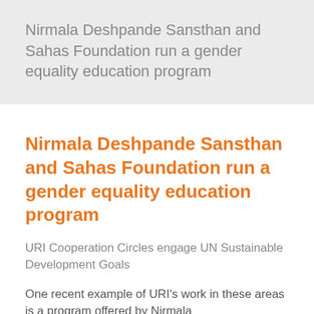Nirmala Deshpande Sansthan and Sahas Foundation run a gender equality education program
Nirmala Deshpande Sansthan and Sahas Foundation run a gender equality education program
URI Cooperation Circles engage UN Sustainable Development Goals
One recent example of URI’s work in these areas is a program offered by Nirmala